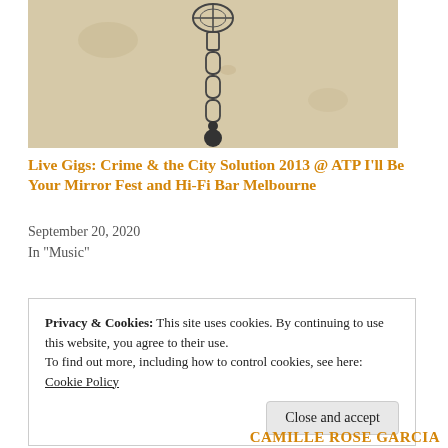[Figure (illustration): Vintage illustration of a hanging microphone with chain links and cords against a worn, aged paper background]
Live Gigs: Crime & the City Solution 2013 @ ATP I'll Be Your Mirror Fest and Hi-Fi Bar Melbourne
September 20, 2020
In "Music"
Privacy & Cookies: This site uses cookies. By continuing to use this website, you agree to their use.
To find out more, including how to control cookies, see here:
Cookie Policy
Close and accept
CAMILLE ROSE GARCIA